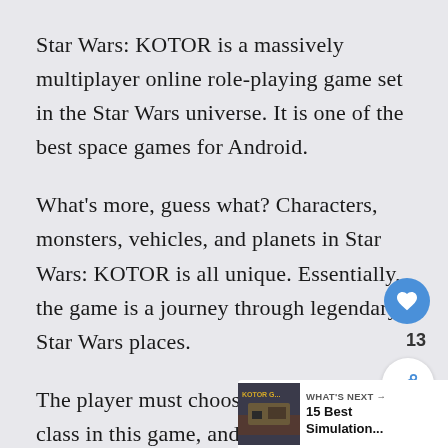Star Wars: KOTOR is a massively multiplayer online role-playing game set in the Star Wars universe. It is one of the best space games for Android.
What's more, guess what? Characters, monsters, vehicles, and planets in Star Wars: KOTOR is all unique. Essentially, the game is a journey through legendary Star Wars places.
The player must choose one of the three class in this game, and each task can be done in a variety of ways.
[Figure (other): UI overlay elements: a heart/like button (blue circle with heart icon), a share button (white circle with share icon), a like count of 13, and a 'What's Next' widget showing a thumbnail and '15 Best Simulation...' text.]